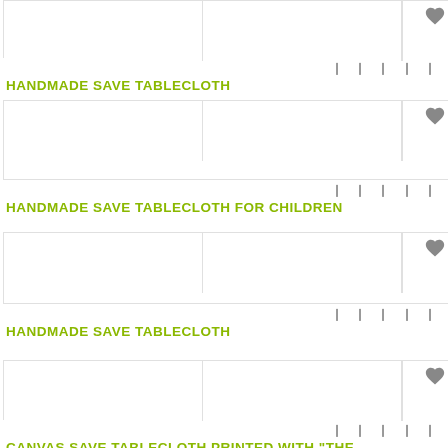[Figure (screenshot): Product image placeholder with heart icon, first product row]
❙ ❙ ❙ ❙ ❙
HANDMADE SAVE TABLECLOTH
[Figure (screenshot): Product image placeholder with heart icon, second product row]
❙ ❙ ❙ ❙ ❙
HANDMADE SAVE TABLECLOTH FOR CHILDREN
[Figure (screenshot): Product image placeholder with heart icon, third product row]
❙ ❙ ❙ ❙ ❙
HANDMADE SAVE TABLECLOTH
[Figure (screenshot): Product image placeholder with heart icon, fourth product row]
❙ ❙ ❙ ❙ ❙
CANVAS SAVE TABLECLOTH PRINTED WITH "THE